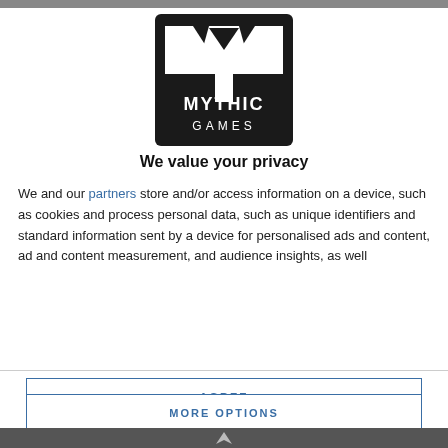[Figure (logo): Mythic Games logo: black square with stylized white M/Y shape and text MYTHIC GAMES below]
We value your privacy
We and our partners store and/or access information on a device, such as cookies and process personal data, such as unique identifiers and standard information sent by a device for personalised ads and content, ad and content measurement, and audience insights, as well
AGREE
MORE OPTIONS